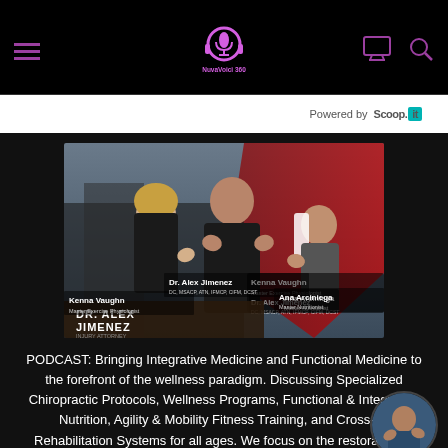NuvaVoici 360 - Navigation bar with hamburger menu, logo, monitor icon, search icon
Powered by Scoop.it
[Figure (photo): Promotional photo featuring three people giving thumbs up: Kenna Vaughn (Master Exercise Physiologist), Dr. Alex Jimenez (DC, MSACP, ATN, IFMCP, CIFM, DCST), and Ana Arciniega (Master Nutritionist), with Dr. Alex Jimenez branding in foreground]
PODCAST: Bringing Integrative Medicine and Functional Medicine to the forefront of the wellness paradigm. Discussing Specialized Chiropractic Protocols, Wellness Programs, Functional & Integrative Nutrition, Agility & Mobility Fitness Training, and Cross-Fit Rehabilitation Systems for all ages. We focus on the restoration of